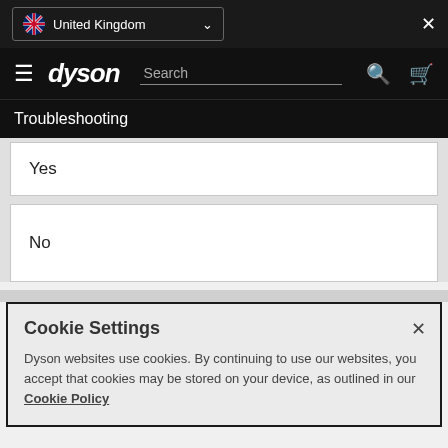United Kingdom
dyson
Troubleshooting
Yes
No
Cookie Settings
Dyson websites use cookies. By continuing to use our websites, you accept that cookies may be stored on your device, as outlined in our Cookie Policy